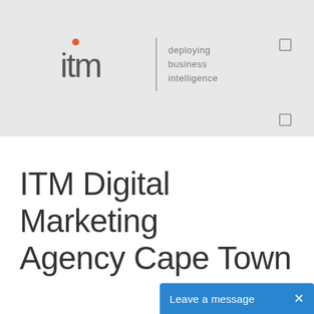[Figure (logo): ITM logo with orange dot above 'i', bold lowercase 'itm' text, vertical divider line, tagline 'deploying business intelligence' in grey]
ITM Digital Marketing Agency Cape Town
[Figure (screenshot): Blue chat widget at bottom right with text 'Leave a message' and an X close button]